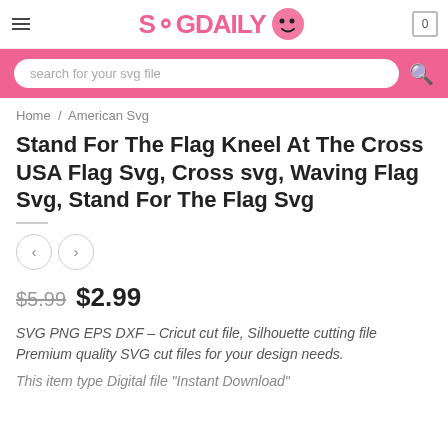SVGDAILY
search for your svg file
Home / American Svg
Stand For The Flag Kneel At The Cross USA Flag Svg, Cross svg, Waving Flag Svg, Stand For The Flag Svg
$5.99  $2.99
SVG PNG EPS DXF – Cricut cut file, Silhouette cutting file Premium quality SVG cut files for your design needs.
This item type Digital file "Instant Download"